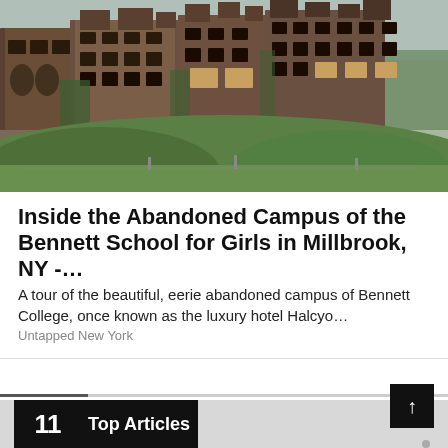[Figure (photo): Photograph of a large, dilapidated multi-story abandoned building overgrown with vines and vegetation, with broken windows and weathered wooden siding, surrounded by green trees and bushes.]
Inside the Abandoned Campus of the Bennett School for Girls in Millbrook, NY -…
A tour of the beautiful, eerie abandoned campus of Bennett College, once known as the luxury hotel Halcyo…
Untapped New York
[Figure (screenshot): Bottom section showing a progress bar, a black box with '11' and 'Top Articles' label partially visible, and a scroll-up button.]